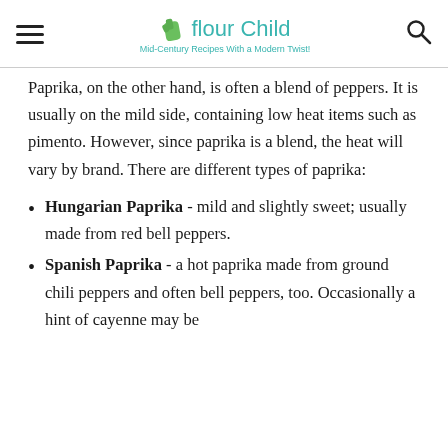Flour Child - Mid-Century Recipes With a Modern Twist!
Paprika, on the other hand, is often a blend of peppers. It is usually on the mild side, containing low heat items such as pimento. However, since paprika is a blend, the heat will vary by brand. There are different types of paprika:
Hungarian Paprika - mild and slightly sweet; usually made from red bell peppers.
Spanish Paprika - a hot paprika made from ground chili peppers and often bell peppers, too. Occasionally a hint of cayenne may be